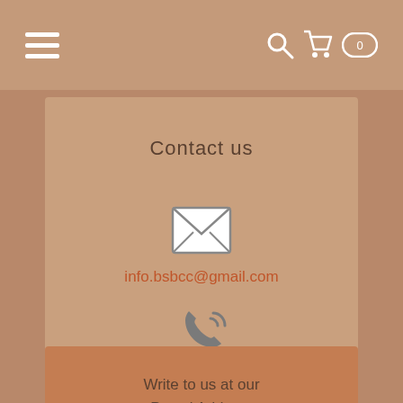Navigation bar with hamburger menu and cart icon
Contact us
[Figure (illustration): Envelope/mail icon]
info.bsbcc@gmail.com
[Figure (illustration): Phone/telephone icon]
+60 89-534491
Write to us at our Postal Address
BSBCC,